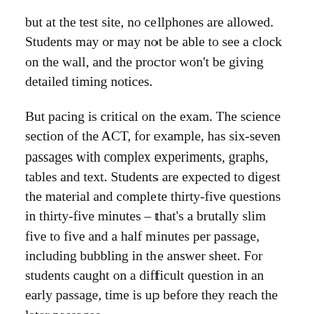but at the test site, no cellphones are allowed. Students may or may not be able to see a clock on the wall, and the proctor won't be giving detailed timing notices.
But pacing is critical on the exam. The science section of the ACT, for example, has six-seven passages with complex experiments, graphs, tables and text. Students are expected to digest the material and complete thirty-five questions in thirty-five minutes – that's a brutally slim five to five and a half minutes per passage, including bubbling in the answer sheet. For students caught on a difficult question in an early passage, time is up before they reach the later passages.
Jordan's watch, Testing Timers, is a terrific tool for SAT and ACT prep and invaluable on the exam itself. With a dedicated model for the SAT and a separate one for the ACT, the watch allows students to choose the test